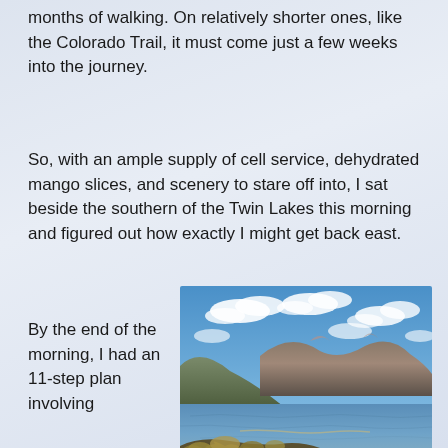months of walking. On relatively shorter ones, like the Colorado Trail, it must come just a few weeks into the journey.
So, with an ample supply of cell service, dehydrated mango slices, and scenery to stare off into, I sat beside the southern of the Twin Lakes this morning and figured out how exactly I might get back east.
By the end of the morning, I had an 11-step plan involving
[Figure (photo): Photo of Twin Lakes: a mountain lake with blue sky, white clouds, mountains in the background, and shrubby vegetation in the foreground along the rocky shore.]